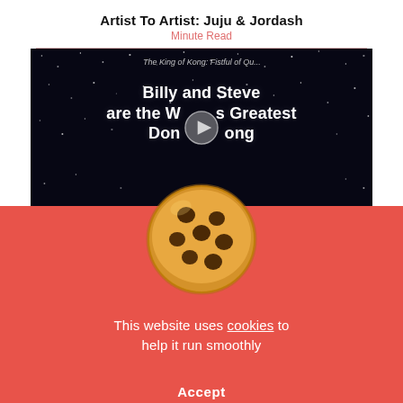Artist To Artist: Juju & Jordash
Minute Read
[Figure (screenshot): Video screenshot with dark starry background and text 'Billy and Steve are the World's Greatest Donkey Kong' with a play button overlay. A cookie image overlaps the bottom of the video.]
This website uses cookies to help it run smoothly
Accept